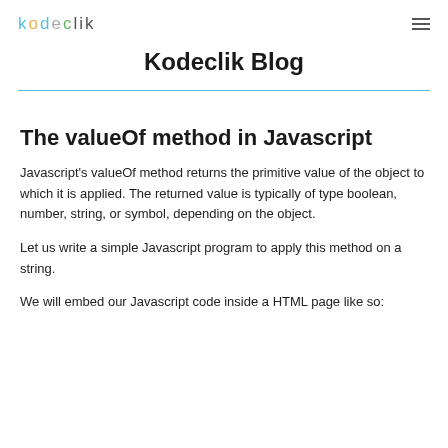kodeclik
Kodeclik Blog
The valueOf method in Javascript
Javascript's valueOf method returns the primitive value of the object to which it is applied. The returned value is typically of type boolean, number, string, or symbol, depending on the object.
Let us write a simple Javascript program to apply this method on a string.
We will embed our Javascript code inside a HTML page like so: